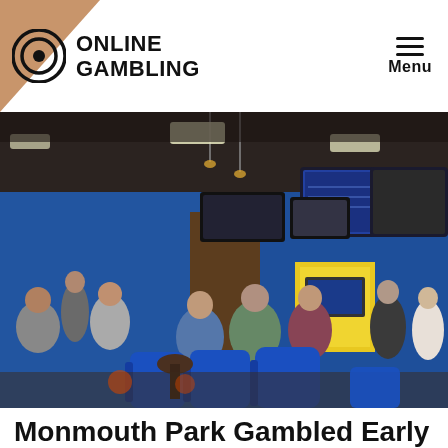ONLINE GAMBLING — Menu
[Figure (photo): Interior of a sports betting lounge with blue chairs, blue walls, multiple TV screens showing sports/betting content, and groups of people socializing. Yellow betting kiosks visible in background.]
Monmouth Park Gambled Early on